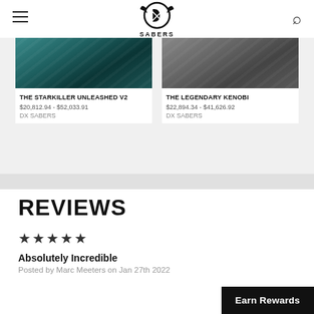DX SABERS logo header with hamburger menu and search icon
[Figure (photo): Product image for The Starkiller Unleashed V2 - teal/dark metallic surface]
THE STARKILLER UNLEASHED V2
$20,812.94 - $52,033.91
DX SABERS
[Figure (photo): Product image for The Legendary Kenobi - grey metallic surface]
THE LEGENDARY KENOBI
$22,894.34 - $41,626.92
DX SABERS
REVIEWS
★★★★★
Absolutely Incredible
Posted by Marc Meeters on Jan 27th 2022
Earn Rewards